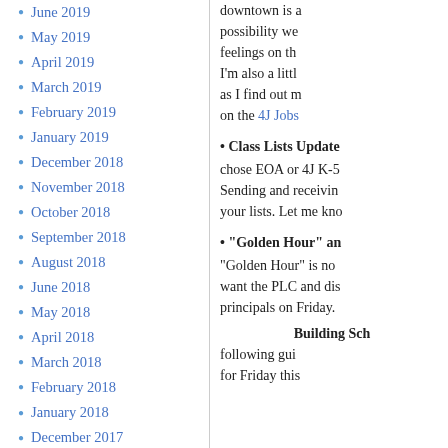June 2019
May 2019
April 2019
March 2019
February 2019
January 2019
December 2018
November 2018
October 2018
September 2018
August 2018
June 2018
May 2018
April 2018
March 2018
February 2018
January 2018
December 2017
November 2017
October 2017
September 2017
August 2017
downtown is a possibility we feelings on th I’m also a littl as I find out m on the 4J Jobs
• Class Lists Update chose EOA or 4J K-5 Sending and receivin your lists. Let me kno
• “Golden Hour” an “Golden Hour” is no want the PLC and dis principals on Friday.
Building Sch following gui for Friday this